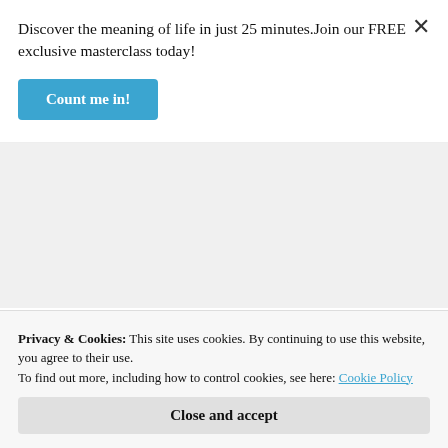Discover the meaning of life in just 25 minutes. Join our FREE exclusive masterclass today!
Count me in!
eternal life.
Thanks for your in-depth article. YAHWEH bless you.
★ Liked by 1 person
Reply
Privacy & Cookies: This site uses cookies. By continuing to use this website, you agree to their use.
To find out more, including how to control cookies, see here: Cookie Policy
Close and accept
make a stand and be separate from the